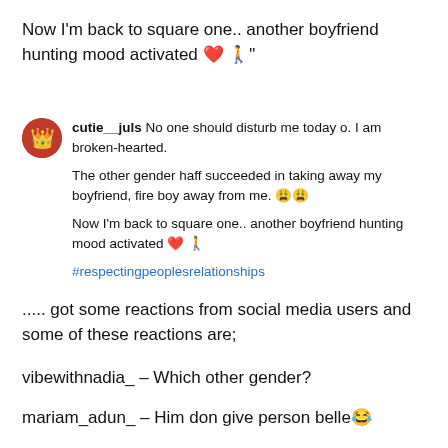Now I'm back to square one.. another boyfriend hunting mood activated ❤️ 🚶"
cutie__juls No one should disturb me today o. I am broken-hearted.

The other gender haff succeeded in taking away my boyfriend, fire boy away from me. 😩😩

Now I'm back to square one.. another boyfriend hunting mood activated ❤️ 🚶

#respectingpeoplesrelationships
..... got some reactions from social media users and some of these reactions are;
vibewithnadia_ – Which other gender?
mariam_adun_ – Him don give person belle😂